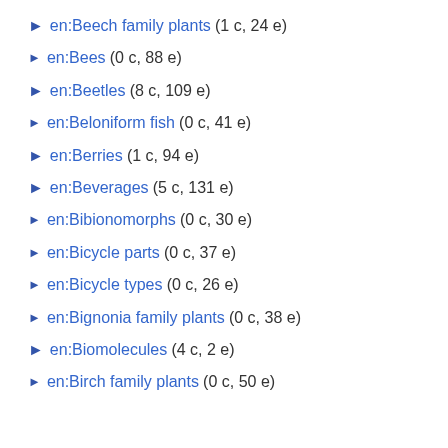en:Beech family plants (1 c, 24 e)
en:Bees (0 c, 88 e)
en:Beetles (8 c, 109 e)
en:Beloniform fish (0 c, 41 e)
en:Berries (1 c, 94 e)
en:Beverages (5 c, 131 e)
en:Bibionomorphs (0 c, 30 e)
en:Bicycle parts (0 c, 37 e)
en:Bicycle types (0 c, 26 e)
en:Bignonia family plants (0 c, 38 e)
en:Biomolecules (4 c, 2 e)
en:Birch family plants (0 c, 50 e)